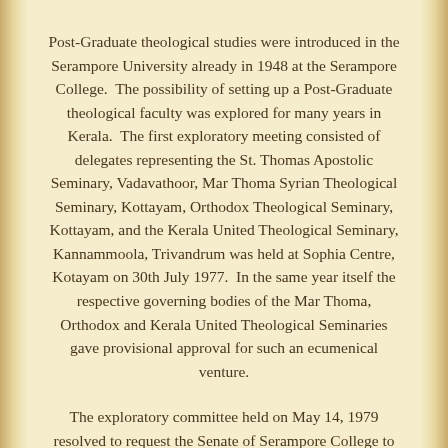Post-Graduate theological studies were introduced in the Serampore University already in 1948 at the Serampore College.  The possibility of setting up a Post-Graduate theological faculty was explored for many years in Kerala.  The first exploratory meeting consisted of delegates representing the St. Thomas Apostolic Seminary, Vadavathoor, Mar Thoma Syrian Theological Seminary, Kottayam, Orthodox Theological Seminary, Kottayam, and the Kerala United Theological Seminary, Kannammoola, Trivandrum was held at Sophia Centre, Kotayam on 30th July 1977.  In the same year itself the respective governing bodies of the Mar Thoma, Orthodox and Kerala United Theological Seminaries gave provisional approval for such an ecumenical venture.
The exploratory committee held on May 14, 1979 resolved to request the Senate of Serampore College to grant